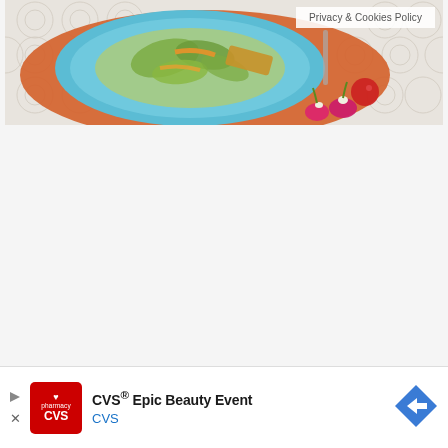[Figure (photo): Top-down photo of a blue plate with a green vegetable salad, placed on an orange napkin on a white patterned tablecloth. Radishes and a cherry tomato are visible beside the plate. A 'Privacy & Cookies Policy' badge appears in the upper right corner of the photo.]
Privacy & Cookies Policy
[Figure (other): Advertisement banner for CVS Epic Beauty Event. Includes CVS Pharmacy red logo, bold text 'CVS® Epic Beauty Event', subtitle 'CVS' in blue, and a blue diamond-shaped arrow icon on the right. Has play and close (X) icons on the left.]